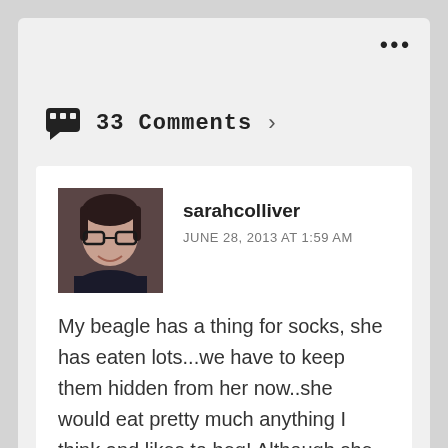33 Comments >
sarahcolliver
JUNE 28, 2013 AT 1:59 AM
My beagle has a thing for socks, she has eaten lots...we have to keep them hidden from her now..she would eat pretty much anything I think and likes to beg! Although she is not quite as bad as she